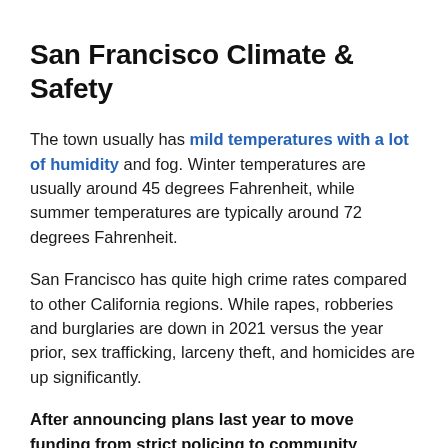San Francisco Climate & Safety
The town usually has mild temperatures with a lot of humidity and fog. Winter temperatures are usually around 45 degrees Fahrenheit, while summer temperatures are typically around 72 degrees Fahrenheit.
San Francisco has quite high crime rates compared to other California regions. While rapes, robberies and burglaries are down in 2021 versus the year prior, sex trafficking, larceny theft, and homicides are up significantly.
After announcing plans last year to move funding from strict policing to community assistance initiatives, the city recently reversed course to cope with the rising crime rates that subsequently